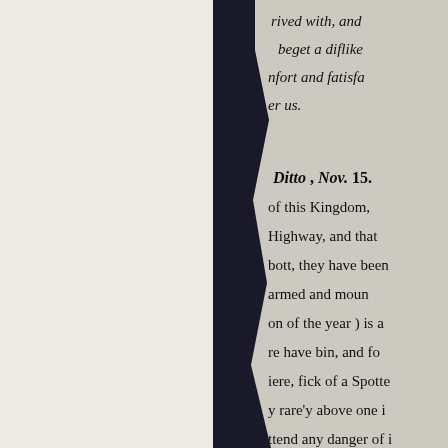[Figure (photo): Photograph of an aged, partially torn historical newspaper or pamphlet page showing old English typography. The visible text fragments read: 'rived with, and', 'beget a dislike', 'nfort and satisfa', 'er us.', 'Ditto, Nov. 15.', 'of this Kingdom,', 'Highway, and that', 'bott, they have been', 'armed and moun', 'on of the year) is a', 're have bin, and so', 'iere, sick of a Spotte', 'y rarely above one i', 'ttend any danger of i', 'Oxford, Print'. The document is photographed against a dark background on the right portion of the image, with the left side showing a light beige/cream surface. A second photograph below shows the top portion of another aged document.]